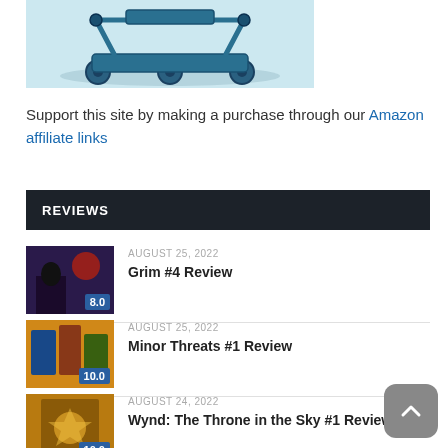[Figure (illustration): Robot/rover illustration with blue tones on light blue background]
Support this site by making a purchase through our Amazon affiliate links
REVIEWS
AUGUST 25, 2022
Grim #4 Review
[Score: 8.0]
AUGUST 25, 2022
Minor Threats #1 Review
[Score: 10.0]
AUGUST 24, 2022
Wynd: The Throne in the Sky #1 Review
[Score: 10.0]